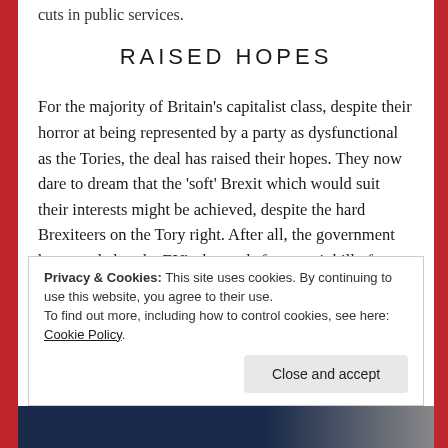cuts in public services.
RAISED HOPES
For the majority of Britain's capitalist class, despite their horror at being represented by a party as dysfunctional as the Tories, the deal has raised their hopes. They now dare to dream that the 'soft' Brexit which would suit their interests might be achieved, despite the hard Brexiteers on the Tory right. After all, the government has acceded to the EU's demands for an exit bill of at least £36 billion, shamefacedly abandoning their previous posturing that the EU could 'go whistle'.
Privacy & Cookies: This site uses cookies. By continuing to use this website, you agree to their use. To find out more, including how to control cookies, see here: Cookie Policy Close and accept